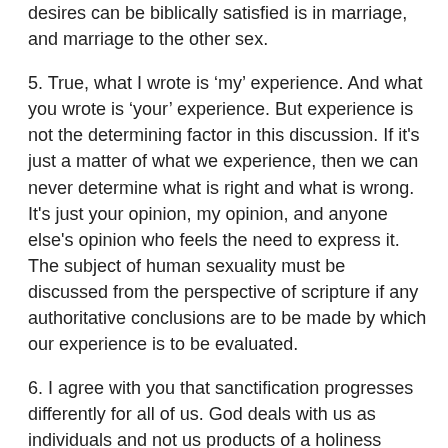desires can be biblically satisfied is in marriage, and marriage to the other sex.
5. True, what I wrote is ‘my’ experience. And what you wrote is ‘your’ experience. But experience is not the determining factor in this discussion. If it's just a matter of what we experience, then we can never determine what is right and what is wrong. It's just your opinion, my opinion, and anyone else's opinion who feels the need to express it. The subject of human sexuality must be discussed from the perspective of scripture if any authoritative conclusions are to be made by which our experience is to be evaluated.
6. I agree with you that sanctification progresses differently for all of us. God deals with us as individuals and not us products of a holiness assembly line. I know a few guys who claim that after God saved them from a gay life they have lost all same-sex attraction. I personally can't identify with that at all. But I don't deny their experience or think